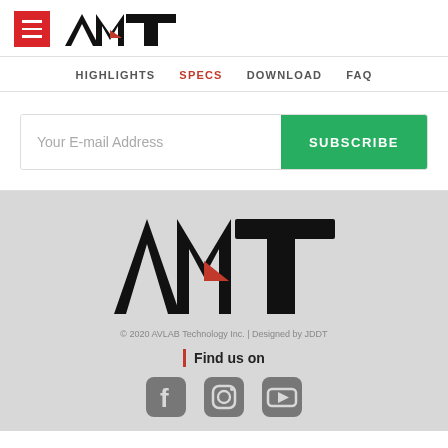[Figure (logo): AVLAB Technology (AVT) logo with red hamburger menu icon on the left and black AVT stylized text on the right]
HIGHLIGHTS  SPECS  DOWNLOAD  FAQ
Your E-mail Address  SUBSCRIBE
[Figure (logo): Large AVT logo centered in footer area]
© 2020 AVLAB Technology Inc. | Designed by JDDT
Find us on
[Figure (illustration): Social media icons: Facebook, Instagram, YouTube]